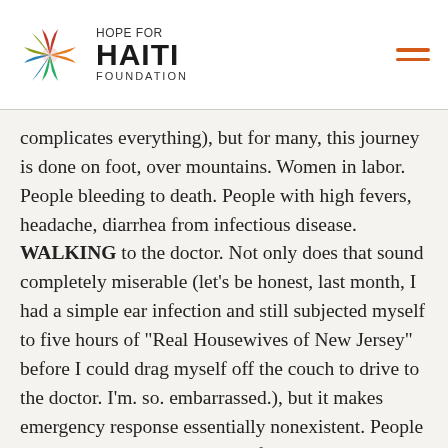HOPE FOR HAITI FOUNDATION
complicates everything), but for many, this journey is done on foot, over mountains. Women in labor. People bleeding to death. People with high fevers, headache, diarrhea from infectious disease. WALKING to the doctor. Not only does that sound completely miserable (let’s be honest, last month, I had a simple ear infection and still subjected myself to five hours of “Real Housewives of New Jersey” before I could drag myself off the couch to drive to the doctor. I’m. so. embarrassed.), but it makes emergency response essentially nonexistent. People die senseless deaths everyday from things that we don’t even consider life-threatening here – all